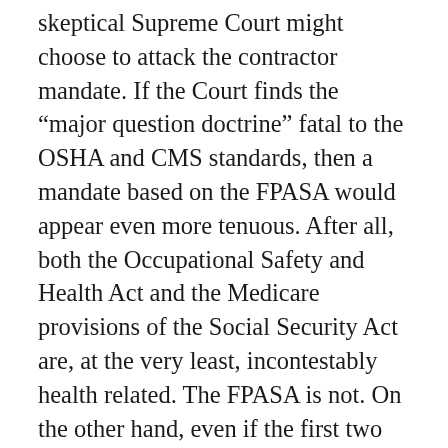skeptical Supreme Court might choose to attack the contractor mandate. If the Court finds the “major question doctrine” fatal to the OSHA and CMS standards, then a mandate based on the FPASA would appear even more tenuous. After all, both the Occupational Safety and Health Act and the Medicare provisions of the Social Security Act are, at the very least, incontestably health related. The FPASA is not. On the other hand, even if the first two standards pass review, an eventual challenge to the contractor mandate might still succeed. Why? Opponents will draw on the clear health focus of the statutes supporting the first two standards, and then suggest that the lack of health language in the FPASA shows that Congress did not intend to